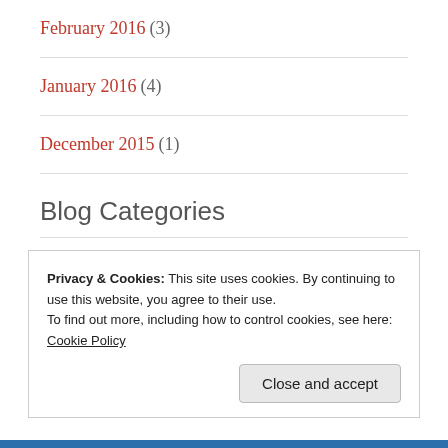February 2016 (3)
January 2016 (4)
December 2015 (1)
Blog Categories
50 Rides in my 50th year (53)
bicycalligraphy (1)
Privacy & Cookies: This site uses cookies. By continuing to use this website, you agree to their use.
To find out more, including how to control cookies, see here: Cookie Policy